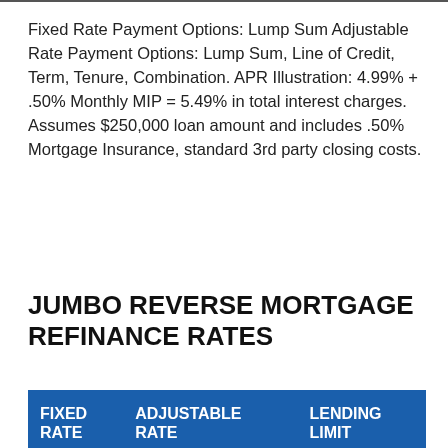Fixed Rate Payment Options: Lump Sum Adjustable Rate Payment Options: Lump Sum, Line of Credit, Term, Tenure, Combination. APR Illustration: 4.99% + .50% Monthly MIP = 5.49% in total interest charges. Assumes $250,000 loan amount and includes .50% Mortgage Insurance, standard 3rd party closing costs.
JUMBO REVERSE MORTGAGE REFINANCE RATES
| FIXED RATE | ADJUSTABLE RATE | LENDING LIMIT |
| --- | --- | --- |